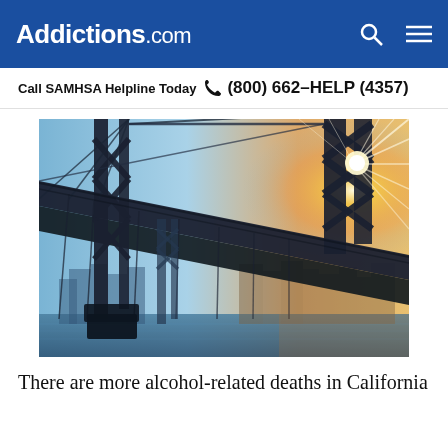Addictions.com
Call SAMHSA Helpline Today  ☎ (800) 662-HELP (4357)
[Figure (photo): Dramatic low-angle photograph of a large suspension bridge (resembling the San Francisco Bay Bridge) with the sun creating a starburst effect through the steel girders and cables, city skyline visible in the background against a blue sky, water below.]
There are more alcohol-related deaths in California